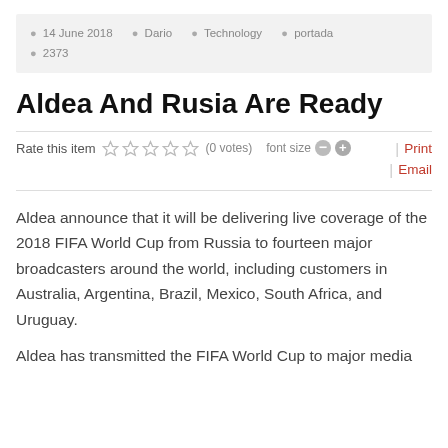14 June 2018  Dario  Technology  portada  2373
Aldea And Rusia Are Ready
Rate this item   (0 votes)   font size   Print  Email
Aldea announce that it will be delivering live coverage of the 2018 FIFA World Cup from Russia to fourteen major broadcasters around the world, including customers in Australia, Argentina, Brazil, Mexico, South Africa, and Uruguay.
Aldea has transmitted the FIFA World Cup to major media